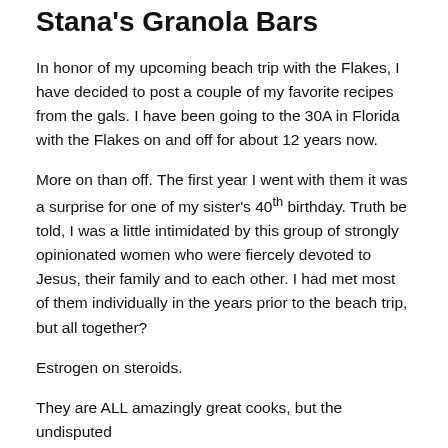Stana's Granola Bars
In honor of my upcoming beach trip with the Flakes, I have decided to post a couple of my favorite recipes from the gals. I have been going to the 30A in Florida with the Flakes on and off for about 12 years now.
More on than off. The first year I went with them it was a surprise for one of my sister's 40th birthday. Truth be told, I was a little intimidated by this group of strongly opinionated women who were fiercely devoted to Jesus, their family and to each other. I had met most of them individually in the years prior to the beach trip, but all together?
Estrogen on steroids.
They are ALL amazingly great cooks, but the undisputed